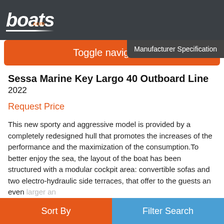[Figure (logo): boats.com logo in white italic bold text on dark background header]
Toggle navigation
Manufacturer Specification
Sessa Marine Key Largo 40 Outboard Line
2022
Request Price
This new sporty and aggressive model is provided by a completely redesigned hull that promotes the increases of the performance and the maximization of the consumption. To better enjoy the sea, the layout of the boat has been structured with a modular cockpit area: convertible sofas and two electro-hydraulic side terraces, that offer to the guests an even larger an
More…
Sort By
Filter Search